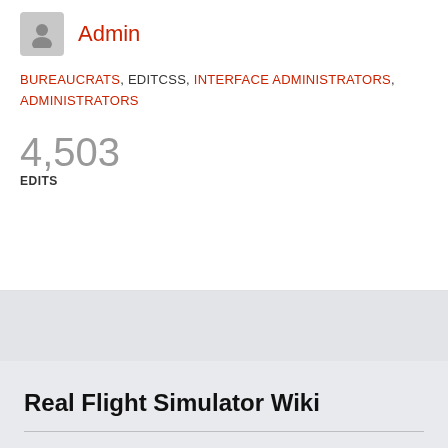Admin
BUREAUCRATS, EDITCSS, INTERFACE ADMINISTRATORS, ADMINISTRATORS
4,503
EDITS
Real Flight Simulator Wiki
Privacy • Desktop